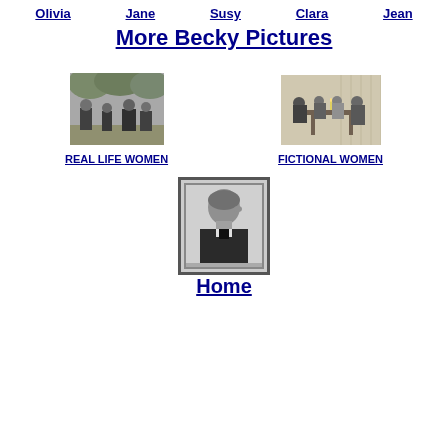Olivia  Jane  Susy  Clara  Jean
More Becky Pictures
[Figure (photo): Black and white outdoor group photograph]
REAL LIFE WOMEN
[Figure (illustration): Black and white illustration of people seated around a table]
FICTIONAL WOMEN
[Figure (photo): Black and white portrait photograph of a man in profile]
Home